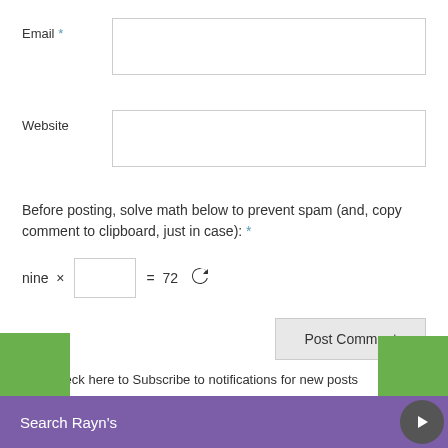Email *
Website
Before posting, solve math below to prevent spam (and, copy comment to clipboard, just in case): *
nine × [input] = 72 [refresh]
Post Comment
Check here to Subscribe to notifications for new posts
Search Rayn's